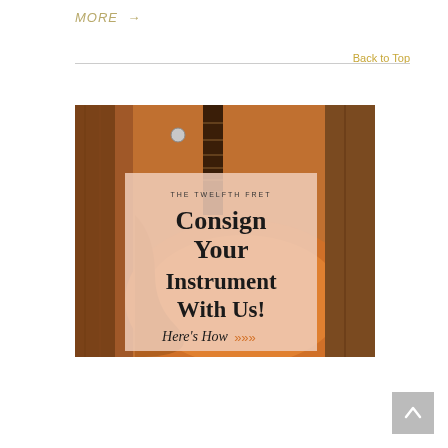MORE →
Back to Top
[Figure (illustration): Advertisement image for The Twelfth Fret guitar consignment service, showing an orange archtop guitar with a semi-transparent overlay box containing the text: THE TWELFTH FRET, Consign Your Instrument With Us!, Here's How >>>]
[Figure (other): Back to Top scroll button in grey square]